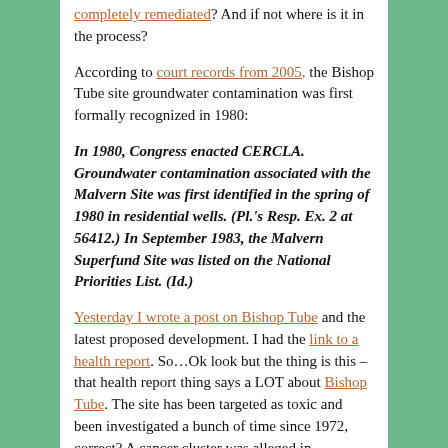completely remediated? And if not where is it in the process?
According to court records from 2005, the Bishop Tube site groundwater contamination was first formally recognized in 1980:
In 1980, Congress enacted CERCLA. Groundwater contamination associated with the Malvern Site was first identified in the spring of 1980 in residential wells. (Pl.'s Resp. Ex. 2 at 56412.) In September 1983, the Malvern Superfund Site was listed on the National Priorities List. (Id.)
Yesterday I wrote a post on Bishop Tube and the latest proposed development. I had the link to a health report. So…Ok look but the thing is this – that health report thing says a LOT about Bishop Tube. The site has been targeted as toxic and been investigated a bunch of time since 1972, correct?  A cancer cluster was alleged in